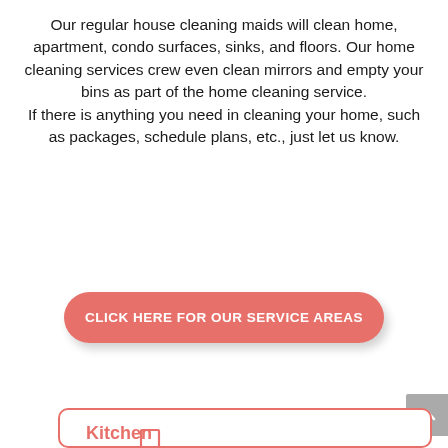Our regular house cleaning maids will clean home, apartment, condo surfaces, sinks, and floors. Our home cleaning services crew even clean mirrors and empty your bins as part of the home cleaning service.
If there is anything you need in cleaning your home, such as packages, schedule plans, etc., just let us know.
CLICK HERE FOR OUR SERVICE AREAS
[Figure (illustration): Red outline icon of a kitchen stove with range hood above it, inside a rounded rectangle card with red border, partially visible at bottom of page. The word 'Kitchen' begins to appear at the bottom.]